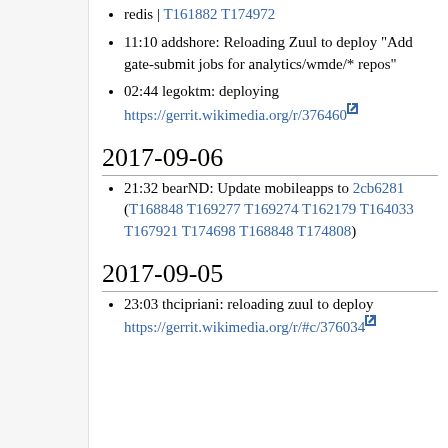redis | T161882 T174972
11:10 addshore: Reloading Zuul to deploy "Add gate-submit jobs for analytics/wmde/* repos"
02:44 legoktm: deploying https://gerrit.wikimedia.org/r/376460
2017-09-06
21:32 bearND: Update mobileapps to 2cb6281 (T168848 T169277 T169274 T162179 T164033 T167921 T174698 T168848 T174808)
2017-09-05
23:03 thcipriani: reloading zuul to deploy https://gerrit.wikimedia.org/r/#c/376034